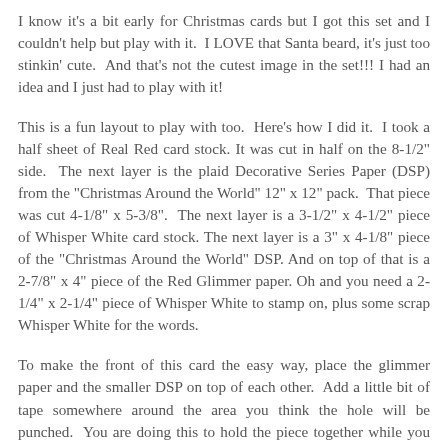I know it's a bit early for Christmas cards but I got this set and I couldn't help but play with it.  I LOVE that Santa beard, it's just too stinkin' cute.  And that's not the cutest image in the set!!! I had an idea and I just had to play with it!
This is a fun layout to play with too.  Here's how I did it.  I took a half sheet of Real Red card stock. It was cut in half on the 8-1/2" side.  The next layer is the plaid Decorative Series Paper (DSP) from the "Christmas Around the World" 12" x 12" pack.  That piece was cut 4-1/8" x 5-3/8".  The next layer is a 3-1/2" x 4-1/2" piece of Whisper White card stock. The next layer is a 3" x 4-1/8" piece of the "Christmas Around the World" DSP. And on top of that is a 2-7/8" x 4" piece of the Red Glimmer paper. Oh and you need a 2-1/4" x 2-1/4" piece of Whisper White to stamp on, plus some scrap Whisper White for the words.
To make the front of this card the easy way, place the glimmer paper and the smaller DSP on top of each other.  Add a little bit of tape somewhere around the area you think the hole will be punched.  You are doing this to hold the piece together while you punch.  You don't need to add tape,